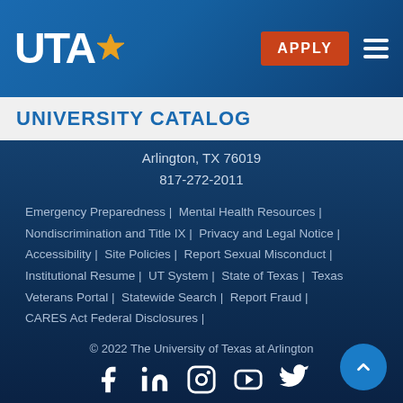[Figure (logo): UTA (University of Texas at Arlington) logo with star, white text on blue gradient header bar, with APPLY button and hamburger menu]
UNIVERSITY CATALOG
Arlington, TX 76019
817-272-2011

Emergency Preparedness | Mental Health Resources | Nondiscrimination and Title IX | Privacy and Legal Notice | Accessibility | Site Policies | Report Sexual Misconduct | Institutional Resume | UT System | State of Texas | Texas Veterans Portal | Statewide Search | Report Fraud | CARES Act Federal Disclosures |

© 2022 The University of Texas at Arlington